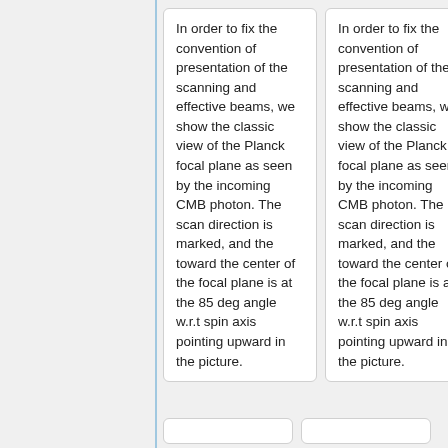In order to fix the convention of presentation of the scanning and effective beams, we show the classic view of the Planck focal plane as seen by the incoming CMB photon. The scan direction is marked, and the toward the center of the focal plane is at the 85 deg angle w.r.t spin axis pointing upward in the picture.
In order to fix the convention of presentation of the scanning and effective beams, we show the classic view of the Planck focal plane as seen by the incoming CMB photon. The scan direction is marked, and the toward the center of the focal plane is at the 85 deg angle w.r.t spin axis pointing upward in the picture.